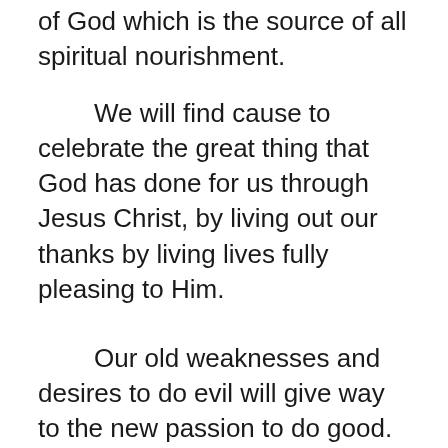of God which is the source of all spiritual nourishment.
We will find cause to celebrate the great thing that God has done for us through Jesus Christ, by living out our thanks by living lives fully pleasing to Him.
Our old weaknesses and desires to do evil will give way to the new passion to do good.  Although momentary lapses and sneak attacks may occasionally “blind side us”, we will always know that grace and mercy are available.
Forgiveness, the strength to overcome,